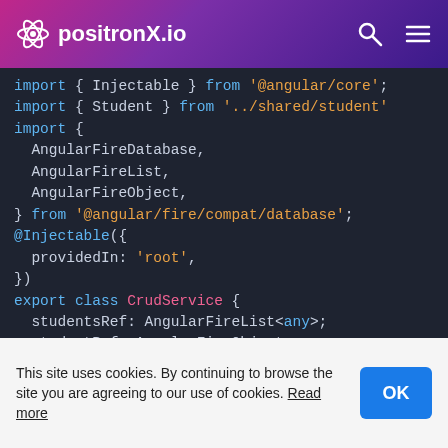positronX.io
[Figure (screenshot): Code editor screenshot showing Angular TypeScript code with syntax highlighting. Dark background with colored keywords. Code shows imports for AngularFireDatabase, AngularFireList, AngularFireObject from '@angular/fire/compat/database', an @Injectable decorator with providedIn: 'root', and an export class CrudService with studentsRef, studentRef properties and constructor.]
This site uses cookies. By continuing to browse the site you are agreeing to our use of cookies. Read more